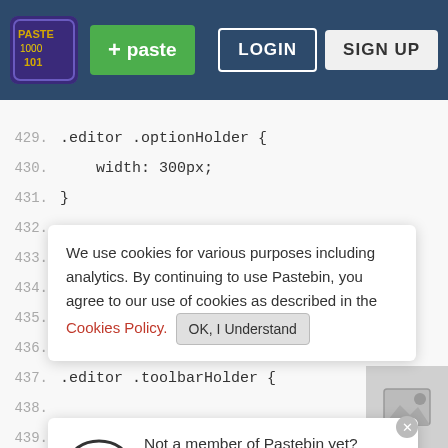Pastebin header with Logo, + paste button, LOGIN and SIGN UP buttons
429.  .editor .optionHolder {
430.      width: 300px;
431.  }
432.
433.  .editor .titleField {
434.
435.  }
436.
437.  .editor .toolbarHolder {
438.
439.
440.
441.  }
442.
443.  .editor .toolbarHolder .tabs {
444.      margin: 0 0 0 200px ;
We use cookies for various purposes including analytics. By continuing to use Pastebin, you agree to our use of cookies as described in the Cookies Policy. OK, I Understand
Not a member of Pastebin yet? Sign Up, it unlocks many cool features!